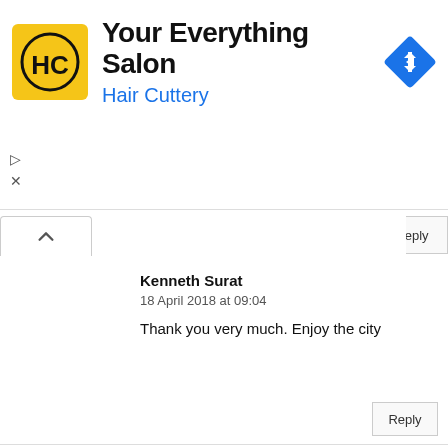[Figure (infographic): Hair Cuttery advertisement banner. Yellow square logo with HC letters, title 'Your Everything Salon', subtitle 'Hair Cuttery' in blue, navigation diamond icon on right. Small play and X controls on the left edge.]
Kenneth Surat
18 April 2018 at 09:04
Thank you very much. Enjoy the city
Sathish Kumar
5 May 2018 at 00:00
Dubai is wonderful place in the world, every one must to go for dubai trip